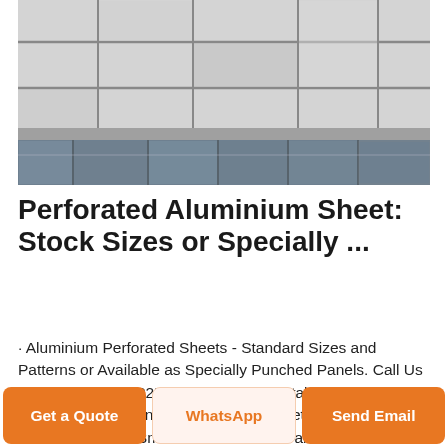[Figure (photo): Photograph of a modern building exterior with large perforated or flat aluminium cladding panels arranged in a grid pattern, with glass windows visible below. Monochrome/grey tones.]
Perforated Aluminium Sheet: Stock Sizes or Specially ...
· Aluminium Perforated Sheets - Standard Sizes and Patterns or Available as Specially Punched Panels. Call Us Today: 0208 692 2255 ... Perforated metal mesh panels can be fabricated in our workshop with return folds, ... 1.3mm 1.3mm ... 3mm aluminium sheet aluminium sheet for
Get a Quote
WhatsApp
Send Email